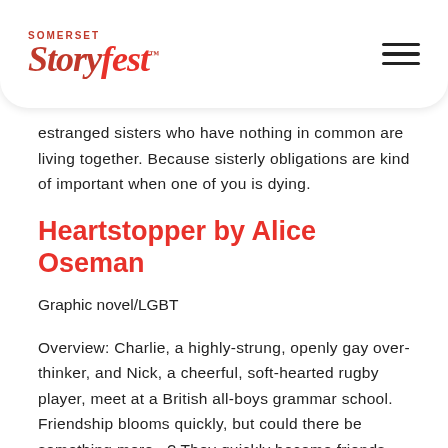Somerset Storyfest
estranged sisters who have nothing in common are living together. Because sisterly obligations are kind of important when one of you is dying.
Heartstopper by Alice Oseman
Graphic novel/LGBT
Overview: Charlie, a highly-strung, openly gay over-thinker, and Nick, a cheerful, soft-hearted rugby player, meet at a British all-boys grammar school. Friendship blooms quickly, but could there be something more...? They quickly become friends, and soon Charlie is falling